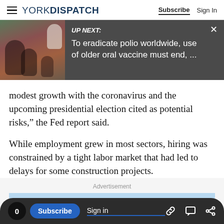YORK DISPATCH | Subscribe  Sign In
[Figure (screenshot): UP NEXT banner with image of people receiving oral vaccine. Text: UP NEXT: To eradicate polio worldwide, use of older oral vaccine must end, ...]
modest growth with the coronavirus and the upcoming presidential election cited as potential risks,” the Fed report said.
While employment grew in most sectors, hiring was constrained by a tight labor market that had led to delays for some construction projects.
Advertisement
0  Subscribe  Sign in